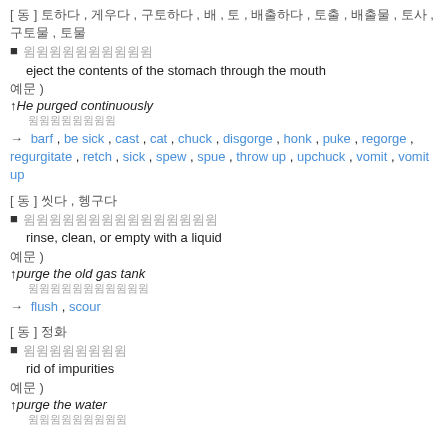[ 동 ] 토하다 , 게우다 , 구토하다 , 배 , 토 , 배출하다 , 토출 , 배출물 , 토사 , 구토물 , 토물
■ 윔윔윔윔윔윔윔윔윔윔
  eject the contents of the stomach through the mouth
예문 )
↑He purged continuously
  윔윔윔윔윔윔윔윔
→ barf , be sick , cast , cat , chuck , disgorge , honk , puke , regorge , regurgitate , retch , sick , spew , spue , throw up , upchuck , vomit , vomit up
[ 동 ] 씻다 , 헹구다
■ 윔윔윔윔윔윔윔윔윔윔윔윔윔윔윔
  rinse, clean, or empty with a liquid
예문 )
↑purge the old gas tank
  윔윔윔윔윔윔윔윔윔윔윔
→ flush , scour
[ 동 ] 정화
■ 윔윔윔윔윔윔윔윔
  rid of impurities
예문 )
↑purge the water
  윔윔윔윔윔윔윔윔윔